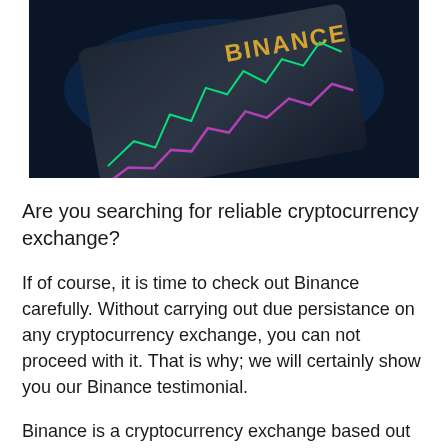[Figure (photo): A Binance-branded card or device with yellow 'BINANCE' logo text, overlaid with green and pink cryptocurrency chart lines on a dark blue background.]
Are you searching for reliable cryptocurrency exchange?
If of course, it is time to check out Binance carefully. Without carrying out due persistance on any cryptocurrency exchange, you can not proceed with it. That is why; we will certainly show you our Binance testimonial.
Binance is a cryptocurrency exchange based out of Malta. It promises affordable trading and has one of the lowest charges in the